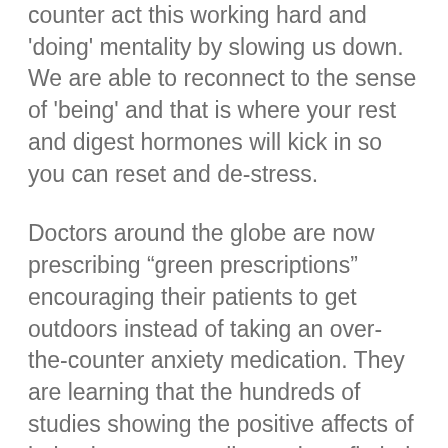counter act this working hard and 'doing' mentality by slowing us down. We are able to reconnect to the sense of 'being' and that is where your rest and digest hormones will kick in so you can reset and de-stress.
Doctors around the globe are now prescribing “green prescriptions” encouraging their patients to get outdoors instead of taking an over-the-counter anxiety medication. They are learning that the hundreds of studies showing the positive affects of being in nature, really can benefit their patient’s psychological wellness.
There are 27 American states that